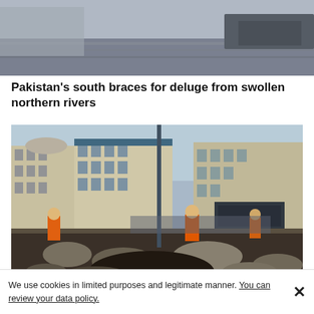[Figure (photo): Flood scene, partially visible at top of page — grey water and debris visible]
Pakistan's south braces for deluge from swollen northern rivers
[Figure (photo): Workers in orange vests stand near a large excavation or sinkhole in front of multi-story European-style buildings. Rubble and rocks fill the foreground.]
We use cookies in limited purposes and legitimate manner. You can review your data policy.